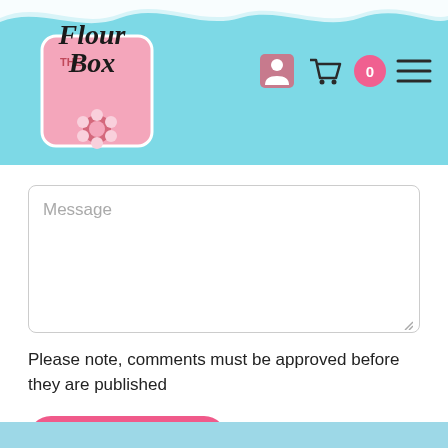[Figure (logo): The Flour Box logo: script text on pink square with flower, on light blue header background with wavy white edge]
Message
Please note, comments must be approved before they are published
POST COMMENT
Search the blog & tutorials